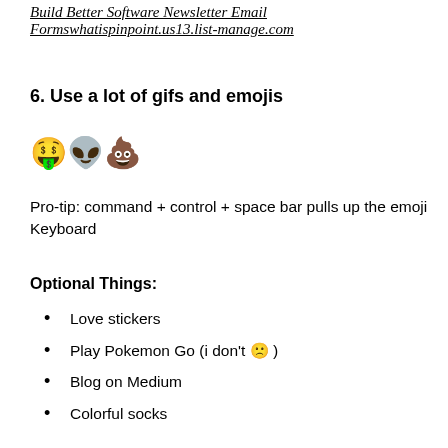Build Better Software Newsletter Email Formswhatispinpoint.us13.list-manage.com
6. Use a lot of gifs and emojis
[Figure (illustration): Three emojis: money-mouth face, alien/skull face, poop emoji]
Pro-tip: command + control + space bar pulls up the emoji Keyboard
Optional Things:
Love stickers
Play Pokemon Go (i don't 🙁 )
Blog on Medium
Colorful socks